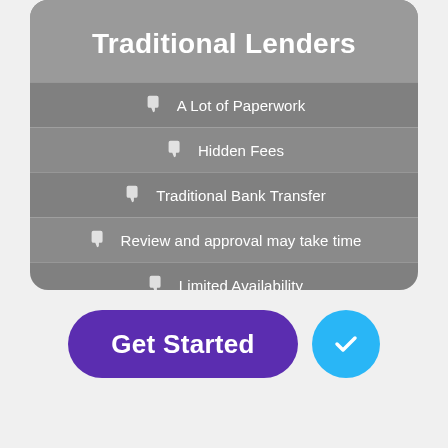Traditional Lenders
A Lot of Paperwork
Hidden Fees
Traditional Bank Transfer
Review and approval may take time
Limited Availability
[Figure (other): Get Started button (purple rounded rectangle) and a cyan circular check icon]